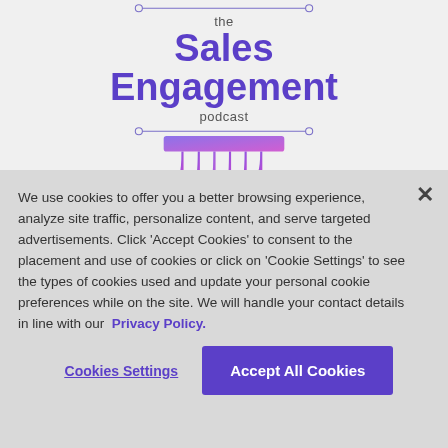[Figure (logo): The Sales Engagement Podcast logo with purple drip illustration and connector lines]
We use cookies to offer you a better browsing experience, analyze site traffic, personalize content, and serve targeted advertisements. Click 'Accept Cookies' to consent to the placement and use of cookies or click on 'Cookie Settings' to see the types of cookies used and update your personal cookie preferences while on the site. We will handle your contact details in line with our Privacy Policy.
Cookies Settings
Accept All Cookies